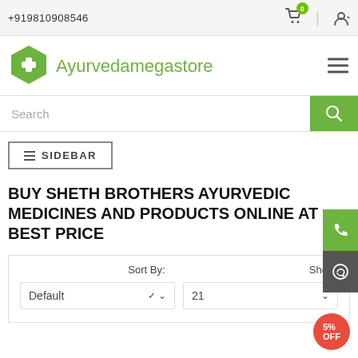+919810908546
[Figure (logo): Ayurvedamegastore green hexagon logo with white cross]
Ayurvedamegastore
Search
≡ SIDEBAR
BUY SHETH BROTHERS AYURVEDIC MEDICINES AND PRODUCTS ONLINE AT BEST PRICE
Sort By: Default   Show: 21
[Figure (other): 5% OFF red circular discount badge]